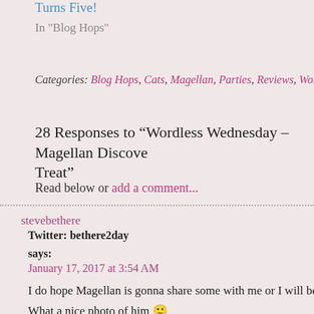Turns Five!
In "Blog Hops"
Categories: Blog Hops, Cats, Magellan, Parties, Reviews, Wordless Wednesday -
28 Responses to “Wordless Wednesday – Magellan Discovers a Treat”
Read below or add a comment...
stevebethere
Twitter: bethere2day
says:
January 17, 2017 at 3:54 AM
I do hope Magellan is gonna share some with me or I will be most upset L
What a nice photo of him 🙂
Have a chewytastic WW!